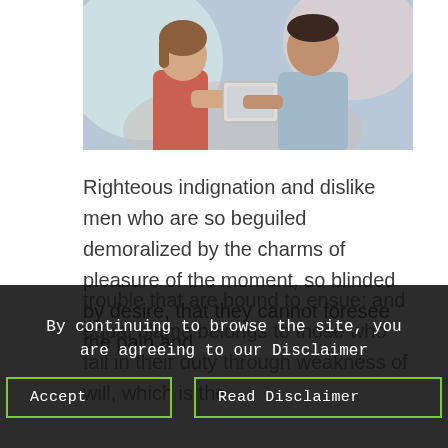[Figure (photo): Two people sitting together looking at a tablet device. A woman in a red/coral top and a man in a gray shirt. Colorful blurred background.]
Righteous indignation and dislike men who are so beguiled demoralized by the charms of pleasure of the moment, so blinded by desire, that they cannot foresee the pain and trouble that are bound to ensue; and equal blame belongs to those who fail in their duty through weakness of will, which is the same as saying through shrinking from toil and pain. These cases are perfectly simple and easy to distinguish. In a free hour, when our power of choice is untrammeled and when nothing prevents our being able to do what we like best, every pleasure is to be welcomed and every pain avoided. But in certain circumstances and owing to the claims of duty or the obligations of business it will frequently occur that pleasures have to be repudiated and annoyances accepted. The wise man therefore always holds in these matters to this principle of selection: he rejects pleasures to secure other greater pleasures, or else he endures pains to avoid worse pains.
By continuing to browse the site, you are agreeing to our Disclaimer